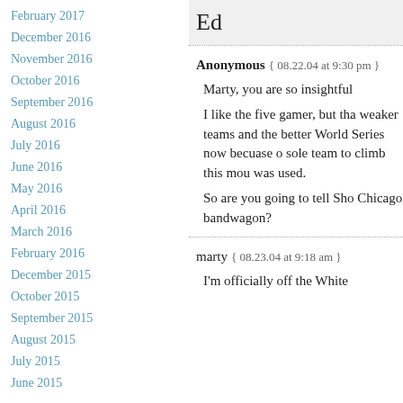February 2017
December 2016
November 2016
October 2016
September 2016
August 2016
July 2016
June 2016
May 2016
April 2016
March 2016
February 2016
December 2015
October 2015
September 2015
August 2015
July 2015
June 2015
Ed
Anonymous { 08.22.04 at 9:30 pm }
Marty, you are so insightful
I like the five gamer, but tha weaker teams and the better World Series now becuase o sole team to climb this mou was used.
So are you going to tell Sho Chicago bandwagon?
marty { 08.23.04 at 9:18 am }
I'm officially off the White